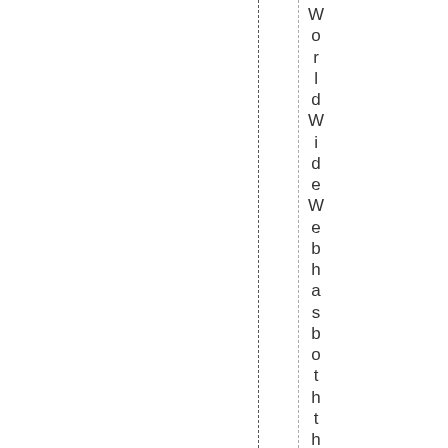WorldWideWebhasboththeirvoices